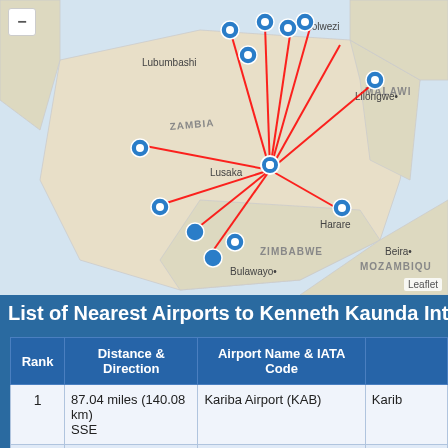[Figure (map): Interactive map showing Kenneth Kaunda International Airport (Lusaka, Zambia) and nearest airports, with blue pin markers and red lines radiating from the central airport. Countries shown: Zambia, Zimbabwe, Malawi, Mozambique. Cities labeled: Lubumbashi, Lilongwe, Lusaka, Harare, Bulawayo, Beira. Leaflet attribution shown.]
List of Nearest Airports to Kenneth Kaunda Internationa...
| Rank | Distance & Direction | Airport Name & IATA Code |  |
| --- | --- | --- | --- |
| 1 | 87.04 miles (140.08 km) SSE | Kariba Airport (KAB) | Karib... |
| 2 | 161.62 miles (260.11 km) N | Ndola Airport (NLA) | Ndola... |
| 3 | 169.14 miles (272.20 km) N | Southdowns Airport (KIW) | Kitwe... |